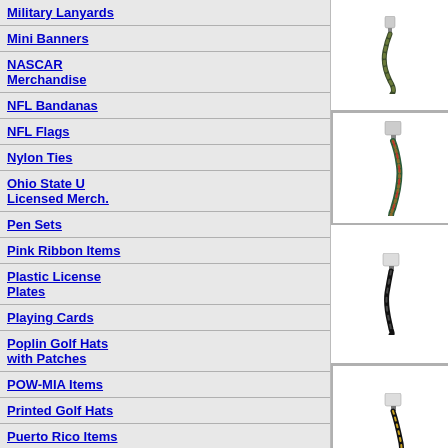Military Lanyards
Mini Banners
NASCAR Merchandise
NFL Bandanas
NFL Flags
Nylon Ties
Ohio State U Licensed Merch.
Pen Sets
Pink Ribbon Items
Plastic License Plates
Playing Cards
Poplin Golf Hats with Patches
POW-MIA Items
Printed Golf Hats
Puerto Rico Items
Puppets
Rebel Items and Novelties
| Image | Code | Description |
| --- | --- | --- |
| [LAN Navy camo A image] | LAN Navy camo A | Military Lanyards Lanyard keychain with camo lanyard $15.00/doz. |
| [LAN Navy camo B image] | LAN Navy camo B | Military Lanyards Lanyard keychain with camo lanyard dozen. |
| [LAN POW image] | LAN POW | Military Lanyards ***ONLY 1 D keychain with lanyard, min. dozen. |
| [LAN Vietnam Veteran image] | LAN Vietnam Veteran | Military Lanyards ***ONLY 2 D keychain with black lanyar dozen. |